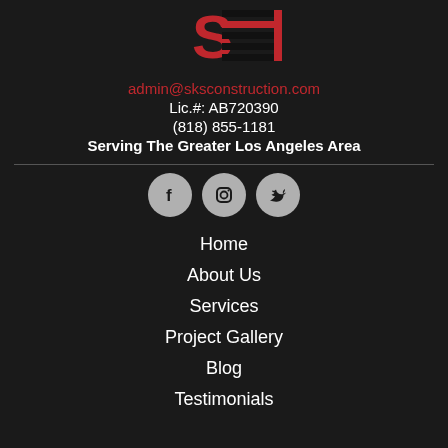[Figure (logo): SKS Construction logo with red S and horizontal black and red stripes on dark background]
admin@sksconstruction.com
Lic.#: AB720390
(818) 855-1181
Serving The Greater Los Angeles Area
[Figure (other): Social media icons: Facebook, Instagram, Twitter on grey circular backgrounds]
Home
About Us
Services
Project Gallery
Blog
Testimonials